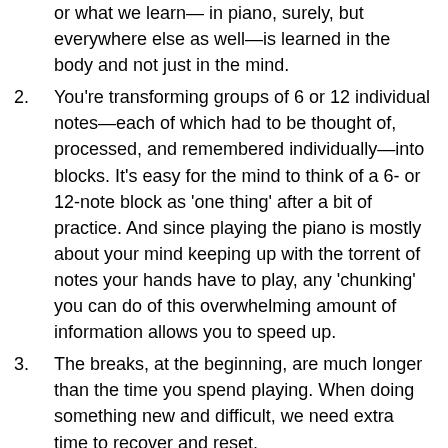or what we learn—in piano, surely, but everywhere else as well—is learned in the body and not just in the mind.
You're transforming groups of 6 or 12 individual notes—each of which had to be thought of, processed, and remembered individually—into blocks. It's easy for the mind to think of a 6- or 12-note block as 'one thing' after a bit of practice. And since playing the piano is mostly about your mind keeping up with the torrent of notes your hands have to play, any 'chunking' you can do of this overwhelming amount of information allows you to speed up.
The breaks, at the beginning, are much longer than the time you spend playing. When doing something new and difficult, we need extra time to recover and reset.